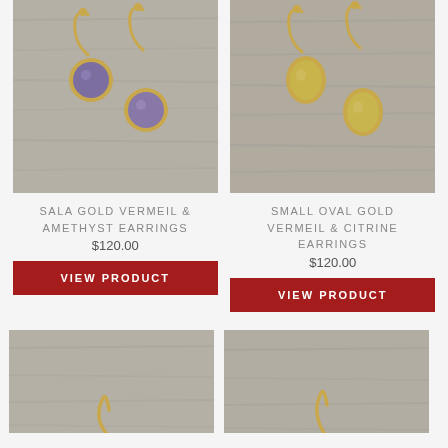[Figure (photo): Gold vermeil and amethyst drop earrings on gray wood background]
[Figure (photo): Small oval gold vermeil and citrine drop earrings on gray wood background]
SALA GOLD VERMEIL & AMETHYST EARRINGS
$120.00
VIEW PRODUCT
SMALL OVAL GOLD VERMEIL & CITRINE EARRINGS
$120.00
VIEW PRODUCT
[Figure (photo): Partial view of gold earring on gray wood background]
[Figure (photo): Partial view of gold earring hook on gray wood background]